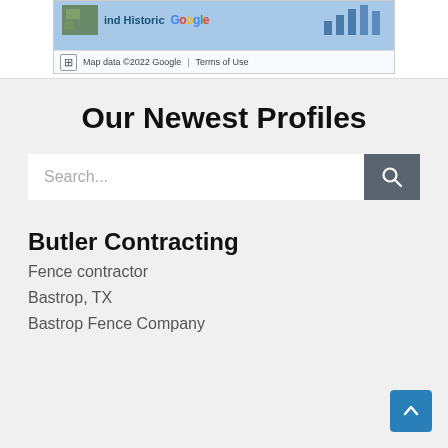[Figure (screenshot): Partial Google Maps screenshot showing map area with 'ind Historic' text, Google logo, map data attribution, and Terms of Use link]
Our Newest Profiles
Search...
Butler Contracting
Fence contractor
Bastrop, TX
Bastrop Fence Company